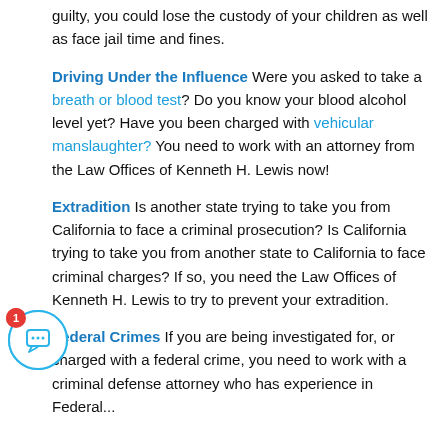guilty, you could lose the custody of your children as well as face jail time and fines.
Driving Under the Influence Were you asked to take a breath or blood test? Do you know your blood alcohol level yet? Have you been charged with vehicular manslaughter? You need to work with an attorney from the Law Offices of Kenneth H. Lewis now!
Extradition Is another state trying to take you from California to face a criminal prosecution? Is California trying to take you from another state to California to face criminal charges? If so, you need the Law Offices of Kenneth H. Lewis to try to prevent your extradition.
Federal Crimes If you are being investigated for, or charged with a federal crime, you need to work with a criminal defense attorney who has experience in Federal...
[Figure (other): Chat icon: circular button with speech bubble icon, notification badge showing '1']